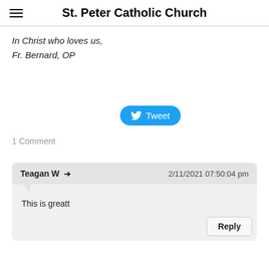St. Peter Catholic Church
In Christ who loves us,
Fr. Bernard, OP
[Figure (other): Twitter Tweet button (blue rounded rectangle with bird icon and 'Tweet' text)]
1 Comment
Teagan W → 2/11/2021 07:50:04 pm
This is greatt
Reply